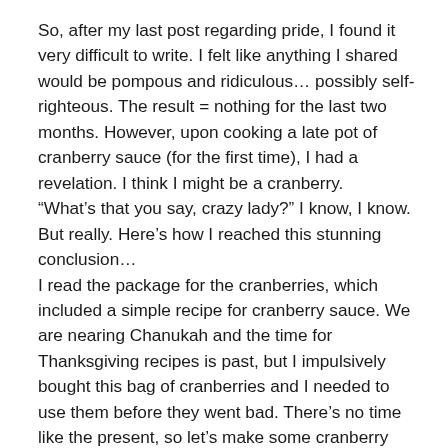So, after my last post regarding pride, I found it very difficult to write. I felt like anything I shared would be pompous and ridiculous… possibly self-righteous. The result = nothing for the last two months. However, upon cooking a late pot of cranberry sauce (for the first time), I had a revelation. I think I might be a cranberry. “What’s that you say, crazy lady?” I know, I know. But really. Here’s how I reached this stunning conclusion… I read the package for the cranberries, which included a simple recipe for cranberry sauce. We are nearing Chanukah and the time for Thanksgiving recipes is past, but I impulsively bought this bag of cranberries and I needed to use them before they went bad. There’s no time like the present, so let’s make some cranberry sauce! The recipe said to let the berries simmer until they start to pop. I thought, “Ok, popping sounds fun.”